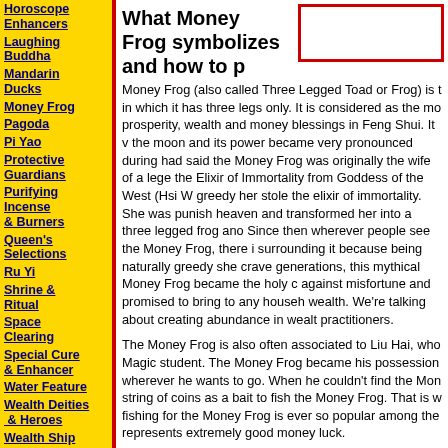Horoscope Enhancers
Laughing Buddha
Mandarin Ducks
Money Frog
Pagoda
Pi Yao
Protective Guardians
Purifying Incense & Burners
Queen's Selections
Ru Yi
Shrine & Ritual
Space Clearing
Special Cure & Enhancer
Water Feature
Wealth Deities & Heroes
Wealth Ship
Windchimes
What Money Frog symbolizes and how to p
Money Frog (also called Three Legged Toad or Frog) is t in which it has three legs only. It is considered as the mo prosperity, wealth and money blessings in Feng Shui. It v the moon and its power became very pronounced during had said the Money Frog was originally the wife of a lege the Elixir of Immortality from Goddess of the West (Hsi W greedy her stole the elixir of immortality. She was punish heaven and transformed her into a three legged frog ano Since then wherever people see the Money Frog, there i surrounding it because being naturally greedy she crave generations, this mythical Money Frog became the holy c against misfortune and promised to bring to any househ wealth. We're talking about creating abundance in wealt practitioners.
The Money Frog is also often associated to Liu Hai, who Magic student. The Money Frog became his possession wherever he wants to go. When he couldn't find the Mon string of coins as a bait to fish the Money Frog. That is w fishing for the Money Frog is ever so popular among the represents extremely good money luck.
Traditionally, the Money Frog is usually depicted holding mouth and sitting on lots of gold ingots, coins and wealt Frog will have a throne on its head to signify its king's au